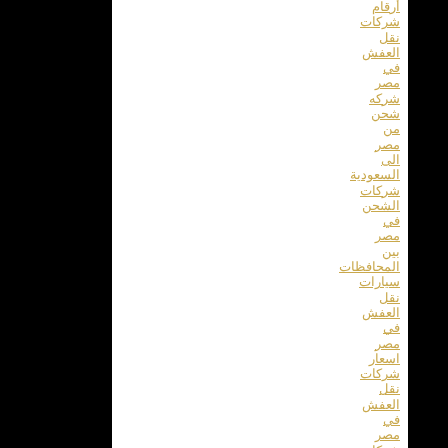أرقام شركات نقل العفش في مصر شركه شحن من مصر الى السعودية شركات الشحن في مصر بين المحافظات سيارات نقل العفش في مصر اسعار شركات نقل العفش في مصر شركات الشحن في